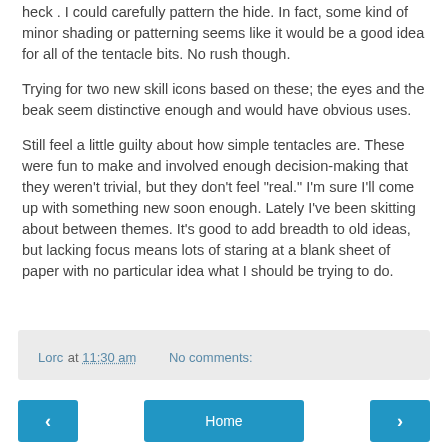heck . I could carefully pattern the hide. In fact, some kind of minor shading or patterning seems like it would be a good idea for all of the tentacle bits. No rush though.
Trying for two new skill icons based on these; the eyes and the beak seem distinctive enough and would have obvious uses.
Still feel a little guilty about how simple tentacles are. These were fun to make and involved enough decision-making that they weren't trivial, but they don't feel "real." I'm sure I'll come up with something new soon enough. Lately I've been skitting about between themes. It's good to add breadth to old ideas, but lacking focus means lots of staring at a blank sheet of paper with no particular idea what I should be trying to do.
Lorc at 11:30 am   No comments:
< Home >